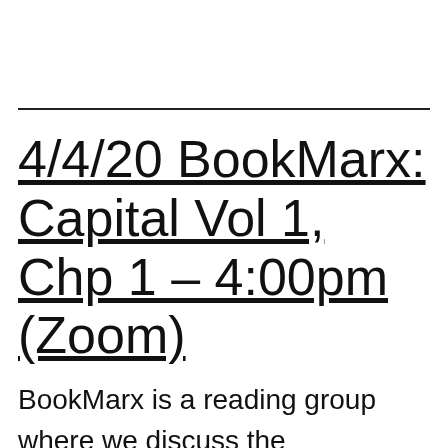4/4/20 BookMarx: Capital Vol 1, Chp 1 – 4:00pm (Zoom)
BookMarx is a reading group where we discuss the foundational texts of socialist thought to deepen our understanding from a context